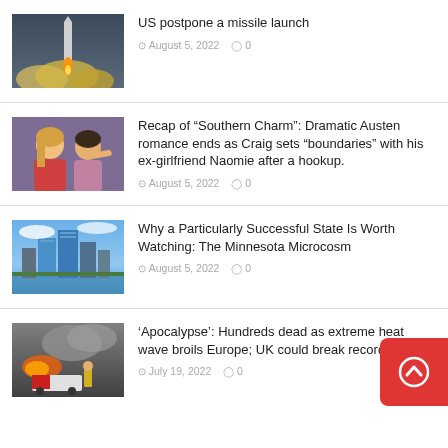[Figure (photo): Rocket missile launch with smoke and flames]
US postpone a missile launch
August 5, 2022   0
[Figure (photo): Two women taking a selfie together]
Recap of “Southern Charm”: Dramatic Austen romance ends as Craig sets “boundaries” with his ex-girlfriend Naomie after a hookup.
August 5, 2022   0
[Figure (photo): City skyline with tall buildings near water]
Why a Particularly Successful State Is Worth Watching: The Minnesota Microcosm
August 5, 2022   0
[Figure (photo): Emergency scene with smoke and fire truck]
‘Apocalypse’: Hundreds dead as extreme heat wave broils Europe; UK could break record
July 19, 2022   0